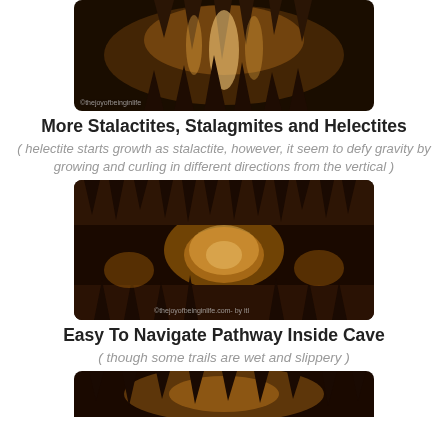[Figure (photo): Cave interior showing stalactites and stalagmites illuminated with white/orange light against dark background]
More Stalactites, Stalagmites and Helectites
( helectite starts growth as stalactite, however, it seem to defy gravity by growing and curling in different directions from the vertical )
[Figure (photo): Long pathway inside cave with golden/amber lit stalactites hanging from ceiling and stalagmites on floor, wide corridor view]
Easy To Navigate Pathway Inside Cave
( though some trails are wet and slippery )
[Figure (photo): Cave interior photo partially visible at bottom of page]